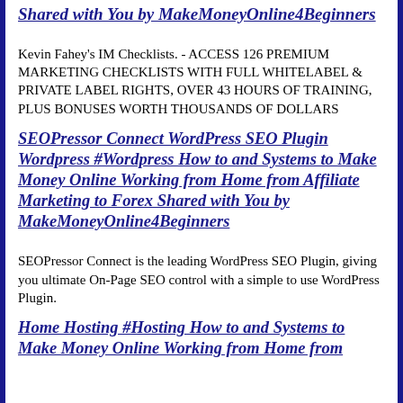Shared with You by MakeMoneyOnline4Beginners
Kevin Fahey&#039;s IM Checklists. - ACCESS 126 PREMIUM MARKETING CHECKLISTS WITH FULL WHITELABEL &amp; PRIVATE LABEL RIGHTS, OVER 43 HOURS OF TRAINING, PLUS BONUSES WORTH THOUSANDS OF DOLLARS
SEOPressor Connect WordPress SEO Plugin Wordpress #Wordpress How to and Systems to Make Money Online Working from Home from Affiliate Marketing to Forex Shared with You by MakeMoneyOnline4Beginners
SEOPressor Connect is the leading WordPress SEO Plugin, giving you ultimate On-Page SEO control with a simple to use WordPress Plugin.
Home Hosting #Hosting How to and Systems to Make Money Online Working from Home from